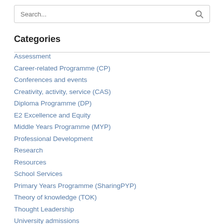Search...
Categories
Assessment
Career-related Programme (CP)
Conferences and events
Creativity, activity, service (CAS)
Diploma Programme (DP)
E2 Excellence and Equity
Middle Years Programme (MYP)
Professional Development
Research
Resources
School Services
Primary Years Programme (SharingPYP)
Theory of knowledge (TOK)
Thought Leadership
University admissions